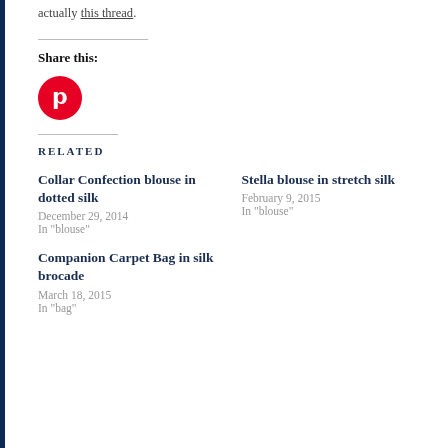actually this thread.
Share this:
[Figure (logo): Pinterest red circle button with white P letter]
Related
Collar Confection blouse in dotted silk
December 29, 2014
In "blouse"
Stella blouse in stretch silk
February 9, 2015
In "blouse"
Companion Carpet Bag in silk brocade
March 18, 2015
In "bag"